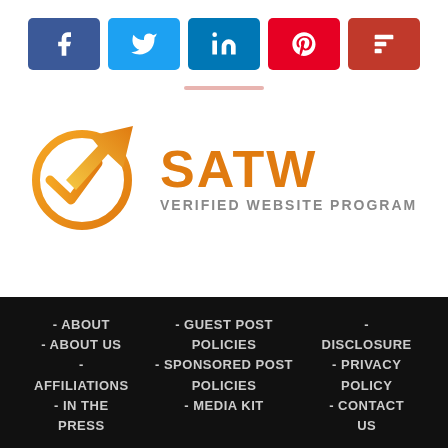[Figure (infographic): Row of 5 social media share buttons: Facebook (blue), Twitter (blue), LinkedIn (blue), Pinterest (red), Flipboard (dark red)]
[Figure (logo): SATW Verified Website Program logo: orange checkmark circle on left, orange SATW text and grey VERIFIED WEBSITE PROGRAM text on right]
- ABOUT
- ABOUT US
- AFFILIATIONS
- IN THE PRESS
- GUEST POST POLICIES
- SPONSORED POST POLICIES
- MEDIA KIT
- DISCLOSURE
- PRIVACY POLICY
- CONTACT US